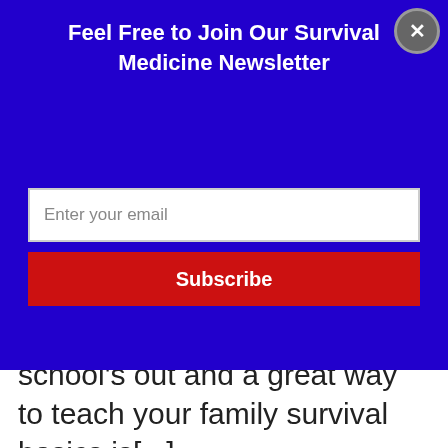Feel Free to Join Our Survival Medicine Newsletter
Enter your email
Subscribe
school's out and a great way to teach your family survival basics is[...]
Read More
Sulfonamides (Sulfa Drugs) in Survival
6 Jun 2018 | Joseph Alton MD
[Figure (photo): Grayscale photo of medical/pharmacy items]